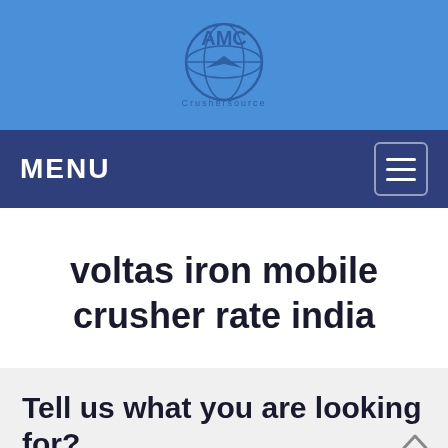[Figure (logo): AMC Globe company logo with blue globe icon and AMC text]
MENU
voltas iron mobile crusher rate india
Tell us what you are looking for?
Please fill in and submit the following form, our service team will contact you as soon as possible and provide a complete solution.